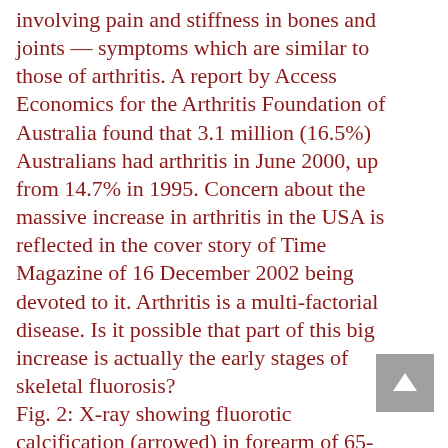involving pain and stiffness in bones and joints — symptoms which are similar to those of arthritis. A report by Access Economics for the Arthritis Foundation of Australia found that 3.1 million (16.5%) Australians had arthritis in June 2000, up from 14.7% in 1995. Concern about the massive increase in arthritis in the USA is reflected in the cover story of Time Magazine of 16 December 2002 being devoted to it. Arthritis is a multi-factorial disease. Is it possible that part of this big increase is actually the early stages of skeletal fluorosis?
Fig. 2: X-ray showing fluorotic calcification (arrowed) in forearm of 65-year-old North African male residing in Tolga (2.5 ppm) in the Sahara Plateau. courtesy of Prof E...